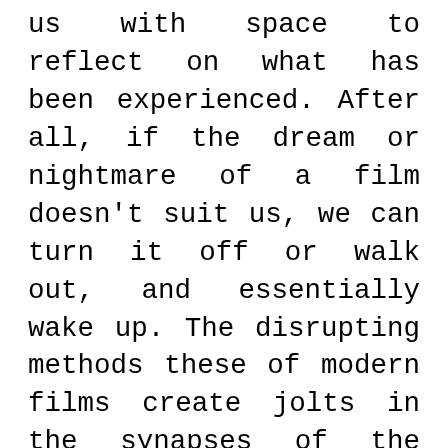us with space to reflect on what has been experienced. After all, if the dream or nightmare of a film doesn't suit us, we can turn it off or walk out, and essentially wake up. The disrupting methods these of modern films create jolts in the synapses of the brain – they are emotionally thrilling and lead us on a journey for meaning. Although it doesn't require great mental effort to watch a film, it demands a degree of reflection. Whether we want it or not, we interpret everything we see. However, in the labyrinth of surreal